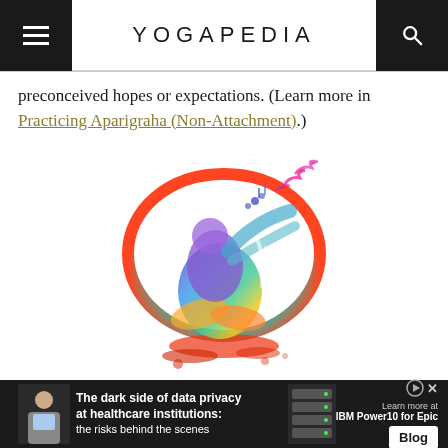YOGAPEDIA
preconceived hopes or expectations. (Learn more in Practicing Aparigraha (Non-Attachment).)
[Figure (illustration): Colorful watercolor illustration of a person in a yoga pose forming a circular shape, with rainbow colors (purple, blue, green, yellow, orange, red) and abstract birds flying upward from the figure.]
[Figure (screenshot): Advertisement banner: 'The dark side of data privacy at healthcare institutions: the risks behind the scenes' - IBM Power10 for Epic Blog ad with a person holding a tablet and server rack image.]